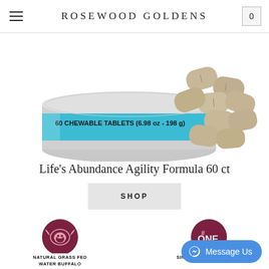ROSEWOOD GOLDENS
[Figure (photo): Cylindrical container with teal/blue label reading '60 CHEWABLE TABLETS (6.98 oz - 198 g' with multiple brown chewable tablets spilling out beside it]
Life's Abundance Agility Formula 60 ct
SHOP
[Figure (logo): Dark maroon circular logo with a buffalo/water buffalo head illustration and text 'NATURAL GRASS FED WATER BUFFALO' below]
[Figure (logo): Dark maroon circular logo with text '#1 ONE' and text 'SINGLE SOURCE PROTEIN' below]
Message Us